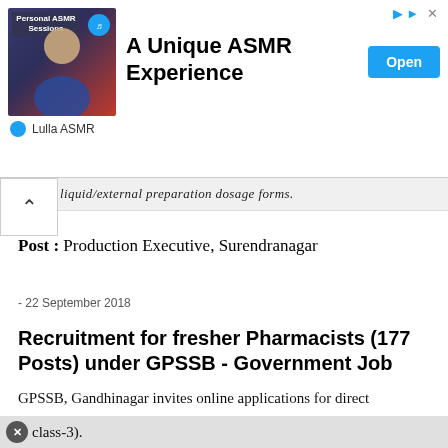[Figure (screenshot): Advertisement banner for 'A Unique ASMR Experience' by Lulla ASMR with thumbnail image, Open button, and play/close icons]
liquid/external preparation dosage forms.
Post : Production Executive, Surendranagar
- 22 September 2018
Recruitment for fresher Pharmacists (177 Posts) under GPSSB - Government Job
GPSSB, Gandhinagar invites online applications for direct recruitment of compunder or pharmacists class-3).